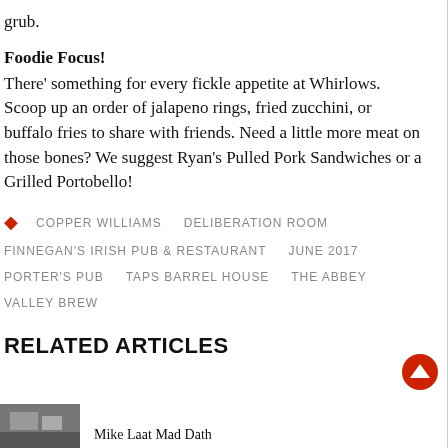grub.
Foodie Focus!
There' something for every fickle appetite at Whirlows. Scoop up an order of jalapeno rings, fried zucchini, or buffalo fries to share with friends. Need a little more meat on those bones? We suggest Ryan's Pulled Pork Sandwiches or a Grilled Portobello!
COPPER WILLIAMS
DELIBERATION ROOM
FINNEGAN'S IRISH PUB & RESTAURANT
JUNE 2017
PORTER'S PUB
TAPS BARREL HOUSE
THE ABBEY
VALLEY BREW
RELATED ARTICLES
[Figure (photo): Thumbnail image for a related article]
Mike Laat Mad Dath